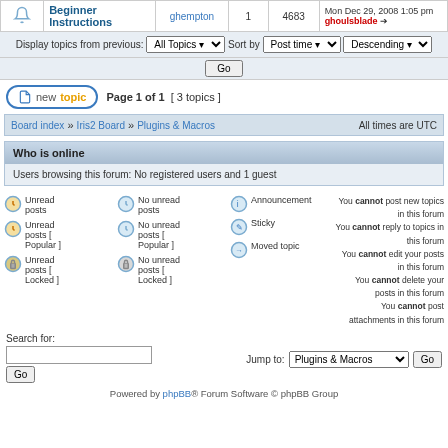|  | Topic | Author | Replies | Views | Last post |
| --- | --- | --- | --- | --- | --- |
| 🔔 | Beginner Instructions | ghempton | 1 | 4683 | Mon Dec 29, 2008 1:05 pm ghoulsblade |
Display topics from previous: All Topics  Sort by  Post time  Descending  Go
new topic   Page 1 of 1  [ 3 topics ]
Board index » Iris2 Board » Plugins & Macros    All times are UTC
Who is online
Users browsing this forum: No registered users and 1 guest
Unread posts | No unread posts | Announcement | You cannot post new topics in this forum
Unread posts [ Popular ] | No unread posts [ Popular ] | Sticky | You cannot reply to topics in this forum
Unread posts [ Locked ] | No unread posts [ Locked ] | Moved topic | You cannot edit your posts in this forum
You cannot delete your posts in this forum
You cannot post attachments in this forum
Search for:
Jump to: Plugins & Macros  Go
Powered by phpBB® Forum Software © phpBB Group